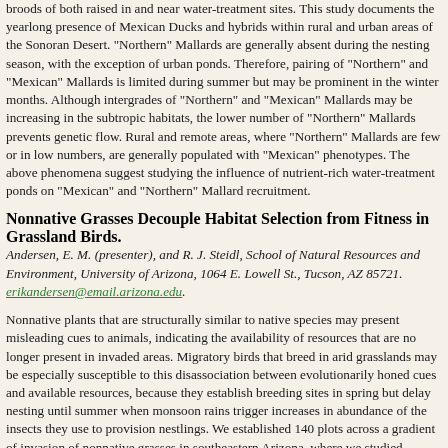broods of both raised in and near water-treatment sites. This study documents the yearlong presence of Mexican Ducks and hybrids within rural and urban areas of the Sonoran Desert. "Northern" Mallards are generally absent during the nesting season, with the exception of urban ponds. Therefore, pairing of "Northern" and "Mexican" Mallards is limited during summer but may be prominent in the winter months. Although intergrades of "Northern" and "Mexican" Mallards may be increasing in the tropical and subtropic habitats, the lower number of "Northern" Mallards prevents gene flow. Rural and remote areas, where "Northern" Mallards are few or in low numbers, are generally populated with "Mexican" phenotypes. The above phenomena suggest studying the influence of nutrient-rich water-treatment ponds on "Mexican" and "Northern" Mallard recruitment.
Nonnative Grasses Decouple Habitat Selection from Fitness in Grassland Birds.
Andersen, E. M. (presenter), and R. J. Steidl, School of Natural Resources and Environment, University of Arizona, 1064 E. Lowell St., Tucson, AZ 85721. erikandersen@email.arizona.edu.
Nonnative plants that are structurally similar to native species may present misleading cues to animals, indicating the availability of resources that are no longer present in invaded areas. Migratory birds that breed in arid grasslands may be especially susceptible to this disassociation between evolutionarily honed cues and available resources, because they establish breeding sites in spring but delay nesting until summer when monsoon rains trigger increases in abundance of the insects they use to provision nestlings. We established 140 plots across a gradient of invasion of nonnative grasses in southeastern Arizona, where we studied density and nest success of grassland birds along the invasion gradient. For the two most common species, density and nest success were not associated positively. Specifically, as dominance of nonnative grasses increased, density of Grasshopper Sparrows